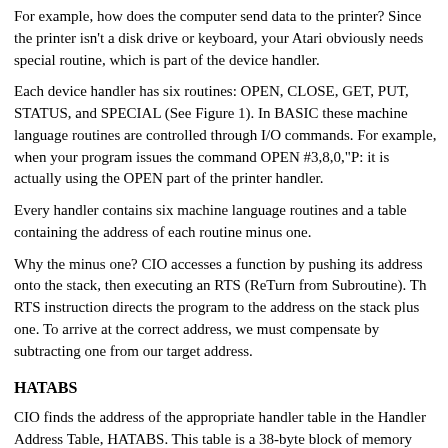For example, how does the computer send data to the printer? Since the printer isn't a disk drive or keyboard, your Atari obviously needs special routine, which is part of the device handler.
Each device handler has six routines: OPEN, CLOSE, GET, PUT, STATUS, and SPECIAL (See Figure 1). In BASIC these machine language routines are controlled through I/O commands. For example, when your program issues the command OPEN #3,8,0,"P: it is actually using the OPEN part of the printer handler.
Every handler contains six machine language routines and a table containing the address of each routine minus one.
Why the minus one? CIO accesses a function by pushing its address onto the stack, then executing an RTS (ReTurn from Subroutine). The RTS instruction directs the program to the address on the stack plus one. To arrive at the correct address, we must compensate by subtracting one from our target address.
HATABS
CIO finds the address of the appropriate handler table in the Handler Address Table, HATABS. This table is a 38-byte block of memory occupying locations 734--831 ($031A--$033F).